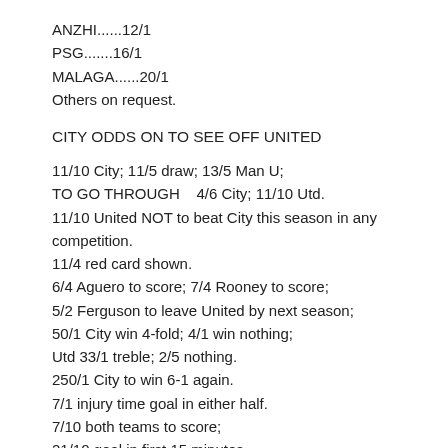ANZHI......12/1
PSG.......16/1
MALAGA......20/1
Others on request.
CITY ODDS ON TO SEE OFF UNITED
11/10 City; 11/5 draw; 13/5 Man U;
TO GO THROUGH    4/6 City; 11/10 Utd.
11/10 United NOT to beat City this season in any competition.
11/4 red card shown.
6/4 Aguero to score; 7/4 Rooney to score;
5/2 Ferguson to leave United by next season;
50/1 City win 4-fold; 4/1 win nothing;
Utd 33/1 treble; 2/5 nothing.
250/1 City to win 6-1 again.
7/1 injury time goal in either half.
7/10 both teams to score;
21/10 goal in first 15 minutes.